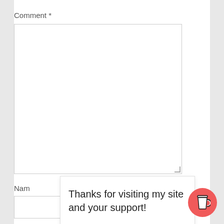Comment *
[Figure (screenshot): Empty comment textarea input box with resize handle at bottom-right corner]
Nam
[Figure (screenshot): Empty name input text field, partially visible]
Thanks for visiting my site and your support!
[Figure (illustration): Red circular button with a white coffee cup icon]